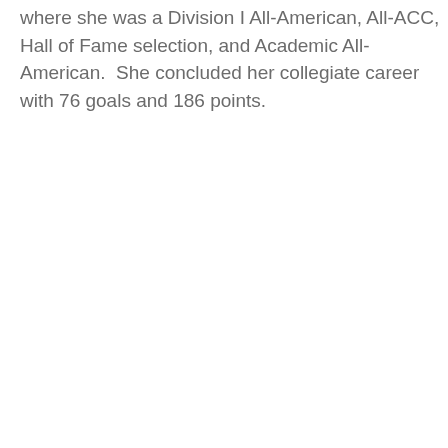where she was a Division I All-American, All-ACC, Hall of Fame selection, and Academic All-American.  She concluded her collegiate career with 76 goals and 186 points.